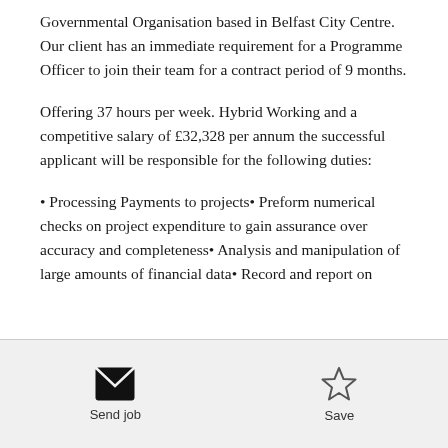Governmental Organisation based in Belfast City Centre. Our client has an immediate requirement for a Programme Officer to join their team for a contract period of 9 months.
Offering 37 hours per week. Hybrid Working and a competitive salary of £32,328 per annum the successful applicant will be responsible for the following duties:
• Processing Payments to projects• Preform numerical checks on project expenditure to gain assurance over accuracy and completeness• Analysis and manipulation of large amounts of financial data• Record and report on
Send job   Save